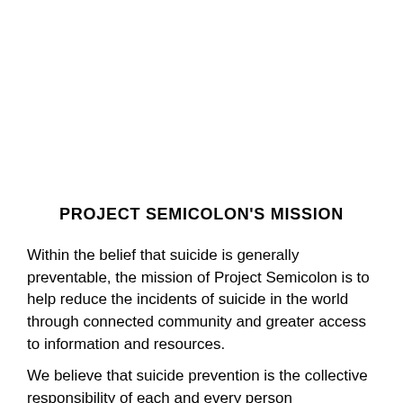PROJECT SEMICOLON'S MISSION
Within the belief that suicide is generally preventable, the mission of Project Semicolon is to help reduce the incidents of suicide in the world through connected community and greater access to information and resources.
We believe that suicide prevention is the collective responsibility of each and every person